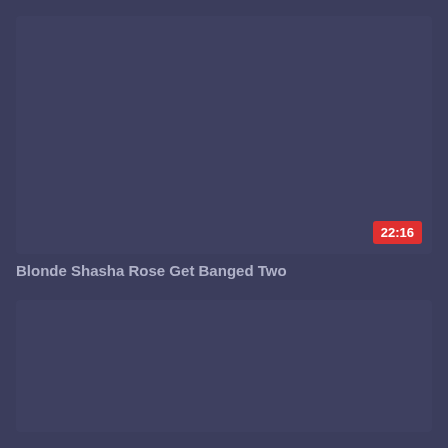[Figure (screenshot): Video thumbnail card, dark navy/dark blue-grey background, no visible image content]
22:16
Blonde Shasha Rose Get Banged Two
[Figure (screenshot): Second video thumbnail card, dark navy/dark blue-grey background, no visible image content]